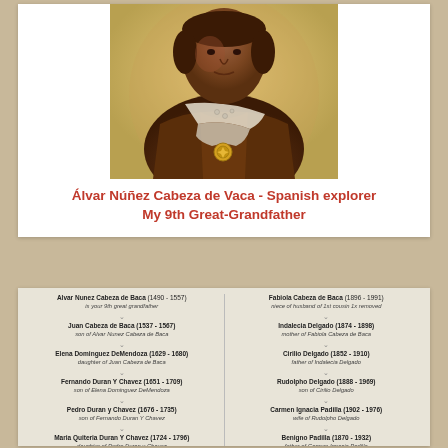[Figure (photo): Portrait painting of Álvar Núñez Cabeza de Vaca, a Spanish explorer, shown wearing a sash and medallion in a historical painted style with reddish-brown tones.]
Álvar Núñez Cabeza de Vaca - Spanish explorer
My 9th Great-Grandfather
[Figure (organizational-chart): Genealogy chart showing two columns of ancestral lineage tracing descent from Álvar Núñez Cabeza de Baca and Fabiola Cabeza de Baca through multiple generations including Juan Cabeza de Baca, Elena Dominguez DeMendoza, Fernando Duran Y Chavez, Pedro Duran y Chavez, Maria Quiteria Duran Y Chavez, Santiago Otero Chavez, and on the right column Indalecia Delgado, Cirilio Delgado, Rudolpho Delgado, Carmen Ignacia Padilla, Benigno Padilla, Marcelina Castillo, and Frasquita Padilla.]